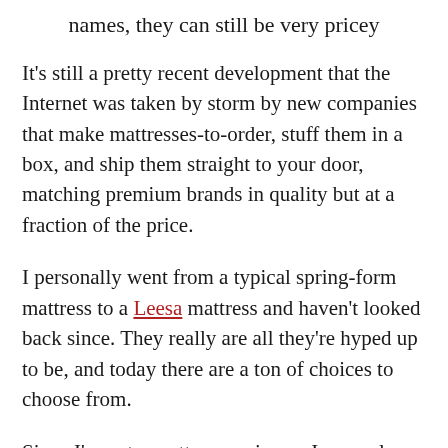names, they can still be very pricey
It’s still a pretty recent development that the Internet was taken by storm by new companies that make mattresses-to-order, stuff them in a box, and ship them straight to your door, matching premium brands in quality but at a fraction of the price.
I personally went from a typical spring-form mattress to a Leesa mattress and haven’t looked back since. They really are all they’re hyped up to be, and today there are a ton of choices to choose from.
Since I’m not a mattress reviewer, I can only